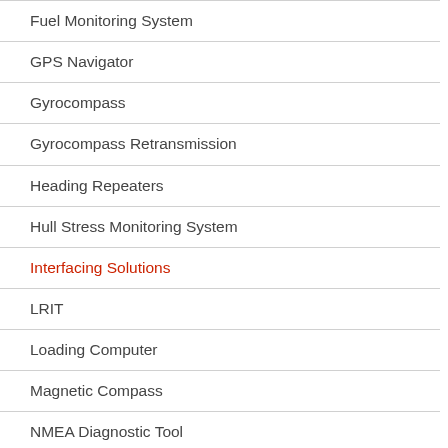Fuel Monitoring System
GPS Navigator
Gyrocompass
Gyrocompass Retransmission
Heading Repeaters
Hull Stress Monitoring System
Interfacing Solutions
LRIT
Loading Computer
Magnetic Compass
NMEA Diagnostic Tool